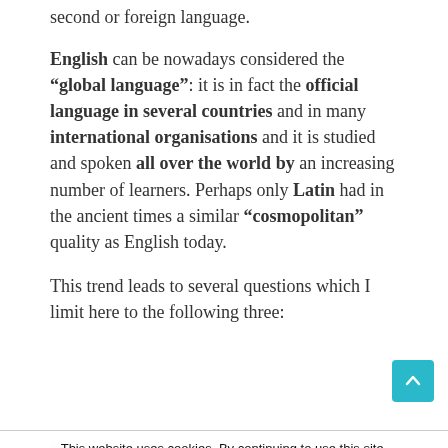second or foreign language.
English can be nowadays considered the “global language”: it is in fact the official language in several countries and in many international organisations and it is studied and spoken all over the world by an increasing number of learners. Perhaps only Latin had in the ancient times a similar “cosmopolitan” quality as English today.
This trend leads to several questions which I limit here to the following three:
This website uses cookies. By continuing to use this site, you accept our use of cookies.
Accept